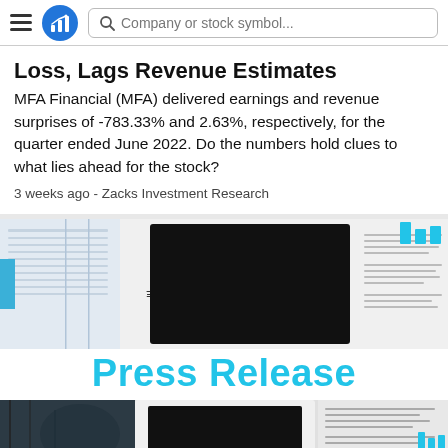Company or stock symbol...
Loss, Lags Revenue Estimates
MFA Financial (MFA) delivered earnings and revenue surprises of -783.33% and 2.63%, respectively, for the quarter ended June 2022. Do the numbers hold clues to what lies ahead for the stock?
3 weeks ago - Zacks Investment Research
[Figure (illustration): Collage of financial documents, tablets, and press release imagery with teal/blue bar chart icon in top right]
Press Release